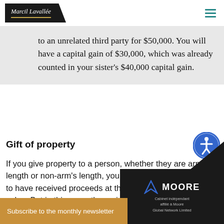Marcil Lavallée
to an unrelated third party for $50,000. You will have a capital gain of $30,000, which was already counted in your sister's $40,000 capital gain.
Gift of property
If you give property to a person, whether they are arm's length or non-arm's length, you will normally be deemed to have received proceeds at the property's fair market value. But in this case, the recipient's cost of the property is also deemed to be the fair
Subscribe to the monthly newsletter